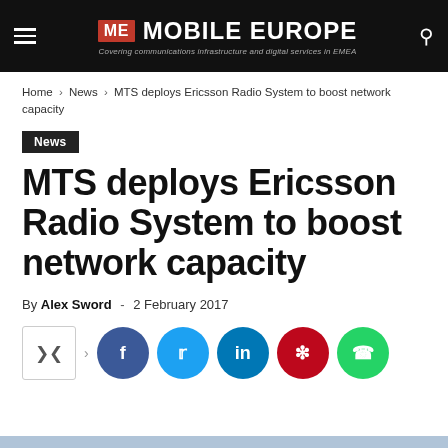ME MOBILE EUROPE — Covering communications infrastructure and digital services in EMEA
Home › News › MTS deploys Ericsson Radio System to boost network capacity
News
MTS deploys Ericsson Radio System to boost network capacity
By Alex Sword - 2 February 2017
[Figure (other): Social sharing buttons: share icon box, facebook, twitter, linkedin, pinterest, whatsapp]